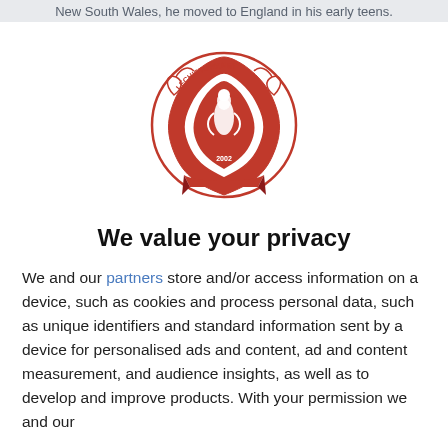New South Wales, he moved to England in his early teens.
[Figure (logo): LFCHistory.net red crest logo with pelican bird and text '2002']
We value your privacy
We and our partners store and/or access information on a device, such as cookies and process personal data, such as unique identifiers and standard information sent by a device for personalised ads and content, ad and content measurement, and audience insights, as well as to develop and improve products. With your permission we and our
AGREE
MORE OPTIONS
team for the 2011/12 season and he impressed as such